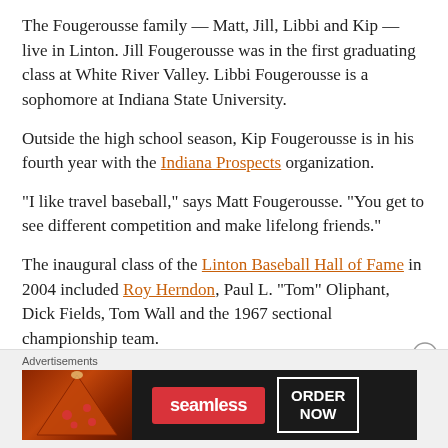The Fougerousse family — Matt, Jill, Libbi and Kip — live in Linton. Jill Fougerousse was in the first graduating class at White River Valley. Libbi Fougerousse is a sophomore at Indiana State University.
Outside the high school season, Kip Fougerousse is in his fourth year with the Indiana Prospects organization.
“I like travel baseball,” says Matt Fougerousse. “You get to see different competition and make lifelong friends.”
The inaugural class of the Linton Baseball Hall of Fame in 2004 included Roy Herndon, Paul L. “Tom” Oliphant, Dick Fields, Tom Wall and the 1967 sectional championship team.
Advertisements
[Figure (other): Seamless food delivery advertisement banner showing pizza image on left, Seamless logo in red, and ORDER NOW button on right]